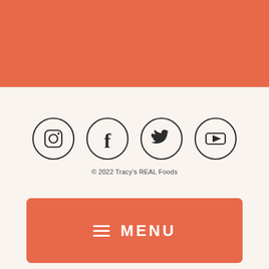[Figure (illustration): Orange/coral colored rectangular block at the top of the page]
[Figure (illustration): Four social media icons in circles: Instagram, Facebook, Twitter, YouTube]
© 2022 Tracy's REAL Foods
[Figure (illustration): Orange/coral menu bar with hamburger icon and MENU text]